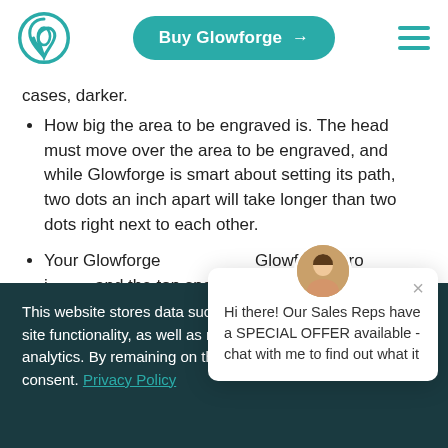Buy Glowforge →
cases, darker.
How big the area to be engraved is. The head must move over the area to be engraved, and while Glowforge is smart about setting its path, two dots an inch apart will take longer than two dots right next to each other.
Your Glowforge [model]. Glowforge Pro is [faster] and the top spe[ed is] times faster tha[n basic].
Hi there! Our Sales Reps have a SPECIAL OFFER available - chat with me to find out what it
This website stores data such as cookies to enable essential site functionality, as well as marketing, personalization, and analytics. By remaining on this website you indicate your consent. Privacy Policy